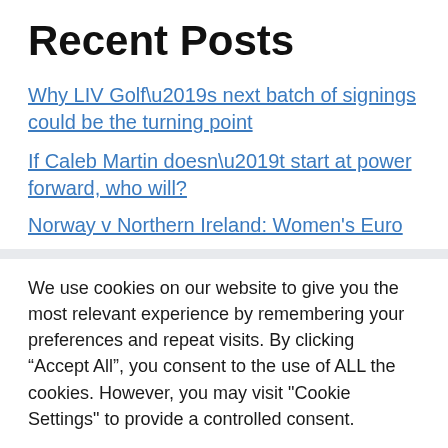Recent Posts
Why LIV Golf’s next batch of signings could be the turning point
If Caleb Martin doesn’t start at power forward, who will?
Norway v Northern Ireland: Women’s Euro…
We use cookies on our website to give you the most relevant experience by remembering your preferences and repeat visits. By clicking “Accept All”, you consent to the use of ALL the cookies. However, you may visit "Cookie Settings" to provide a controlled consent.